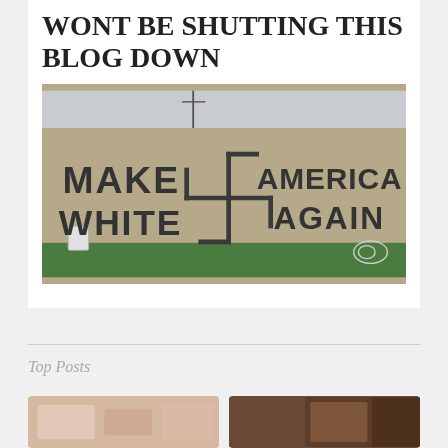WONT BE SHUTTING THIS BLOG DOWN
[Figure (photo): Photo of graffiti on a wall reading 'MAKE WHITE [swastika] AMERICA AGAIN' with watermark 'Wellsville Daily Reporter']
Top Posts
[Figure (photo): Thumbnail image on left - pinkish toned photo]
[Figure (photo): Thumbnail image on right - dark brown toned photo]